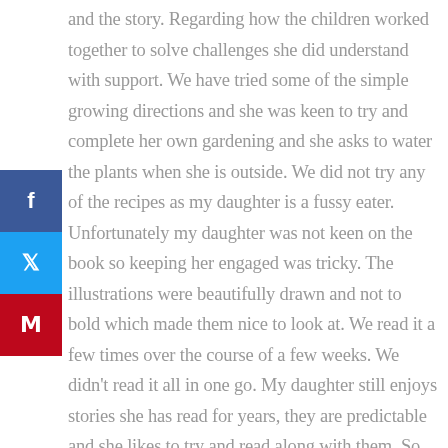and the story. Regarding how the children worked together to solve challenges she did understand with support. We have tried some of the simple growing directions and she was keen to try and complete her own gardening and she asks to water the plants when she is outside. We did not try any of the recipes as my daughter is a fussy eater. Unfortunately my daughter was not keen on the book so keeping her engaged was tricky. The illustrations were beautifully drawn and not to bold which made them nice to look at. We read it a few times over the course of a few weeks. We didn't read it all in one go. My daughter still enjoys stories she has read for years, they are predictable and she likes to try and read along with them. So this book was slightly too difficult for her. I feel in a year or 2 she will be more